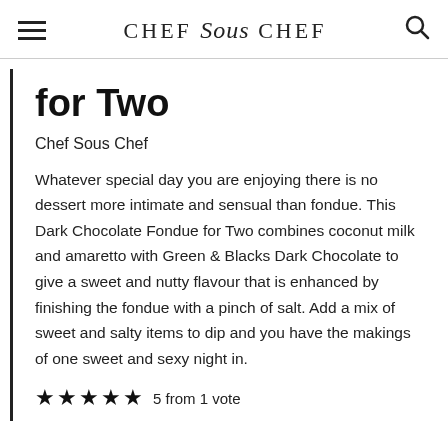CHEF Sous CHEF
for Two
Chef Sous Chef
Whatever special day you are enjoying there is no dessert more intimate and sensual than fondue. This Dark Chocolate Fondue for Two combines coconut milk and amaretto with Green & Blacks Dark Chocolate to give a sweet and nutty flavour that is enhanced by finishing the fondue with a pinch of salt. Add a mix of sweet and salty items to dip and you have the makings of one sweet and sexy night in.
5 from 1 vote